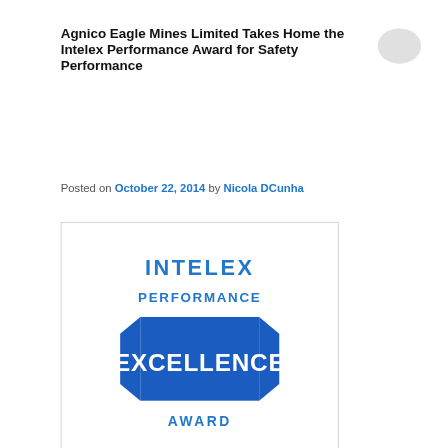Agnico Eagle Mines Limited Takes Home the Intelex Performance Award for Safety Performance
Posted on October 22, 2014 by Nicola DCunha
[Figure (logo): Intelex Performance Excellence Award badge — blue banner with white text reading EXCELLENCE in large letters, with INTELEX PERFORMANCE above and AWARD below, on a white background with a rectangular border.]
Congratulations to Agnico Eagle Mines for their achievement of the Intelex Performance Award for Safety Performance. The Safety Performance award recognizes a client who has shown outstanding